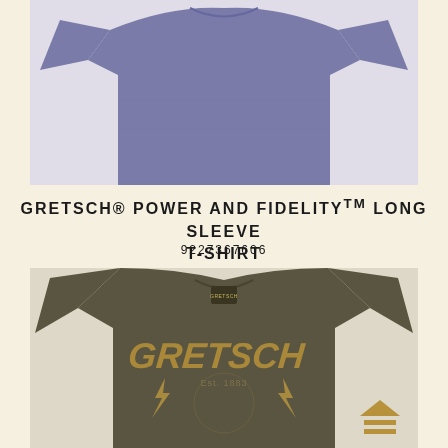[Figure (photo): Blue/purple long sleeve t-shirt laid flat on light background, shown from front, upper portion cropped]
GRETSCH® POWER AND FIDELITY™ LONG SLEEVE T-SHIRT
9227367606
[Figure (photo): Olive/dark army green Gretsch branded t-shirt with vintage-style Gretsch lightning bolt graphic, shown on light background]